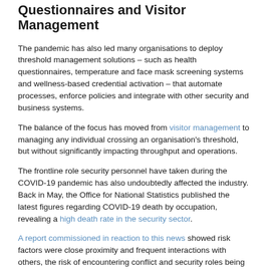Questionnaires and Visitor Management
The pandemic has also led many organisations to deploy threshold management solutions – such as health questionnaires, temperature and face mask screening systems and wellness-based credential activation – that automate processes, enforce policies and integrate with other security and business systems.
The balance of the focus has moved from visitor management to managing any individual crossing an organisation's threshold, but without significantly impacting throughput and operations.
The frontline role security personnel have taken during the COVID-19 pandemic has also undoubtedly affected the industry. Back in May, the Office for National Statistics published the latest figures regarding COVID-19 death by occupation, revealing a high death rate in the security sector.
A report commissioned in reaction to this news showed risk factors were close proximity and frequent interactions with others, the risk of encountering conflict and security roles being located in heavily populated major cities.